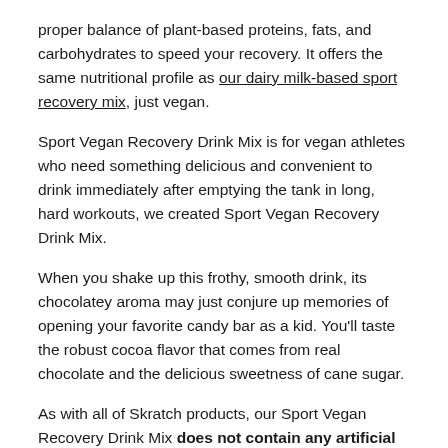proper balance of plant-based proteins, fats, and carbohydrates to speed your recovery. It offers the same nutritional profile as our dairy milk-based sport recovery mix, just vegan.
Sport Vegan Recovery Drink Mix is for vegan athletes who need something delicious and convenient to drink immediately after emptying the tank in long, hard workouts, we created Sport Vegan Recovery Drink Mix.
When you shake up this frothy, smooth drink, its chocolatey aroma may just conjure up memories of opening your favorite candy bar as a kid. You'll taste the robust cocoa flavor that comes from real chocolate and the delicious sweetness of cane sugar.
As with all of Skratch products, our Sport Vegan Recovery Drink Mix does not contain any artificial sweeteners or flavoring agents, something rare in the vegan protein space.
Made with only plant-based protein, our line of Sport...